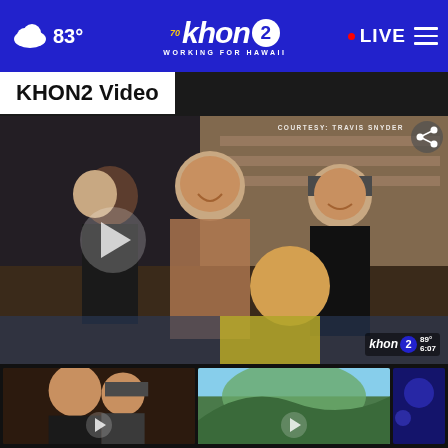83° KHON2 Working for Hawaii LIVE
KHON2 Video
[Figure (screenshot): Main video thumbnail showing a group of people laughing and posing together outdoors. Courtesy: Travis Snyder watermark visible in upper right. KHON2 logo bug in lower right showing 89° 6:07. Play button overlay in center-left.]
[Figure (photo): Thumbnail video 1 showing people posing, similar group shot.]
[Figure (photo): Thumbnail video 2 showing outdoor landscape/nature scene with mountains.]
[Figure (photo): Thumbnail video 3 showing a nighttime scene with blue/purple lighting.]